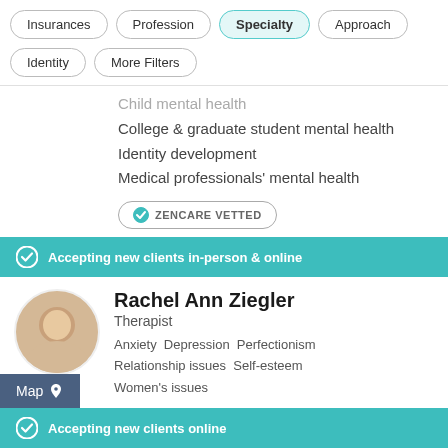Insurances
Profession
Specialty
Approach
Identity
More Filters
Child mental health
College & graduate student mental health
Identity development
Medical professionals' mental health
ZENCARE VETTED
Accepting new clients in-person & online
Rachel Ann Ziegler
Therapist
Anxiety  Depression  Perfectionism  Relationship issues  Self-esteem  Women's issues
Accepting new clients online
Gina Strong